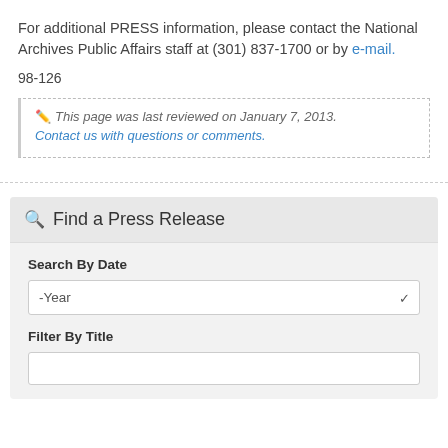For additional PRESS information, please contact the National Archives Public Affairs staff at (301) 837-1700 or by e-mail.
98-126
This page was last reviewed on January 7, 2013.
Contact us with questions or comments.
Find a Press Release
Search By Date
Filter By Title